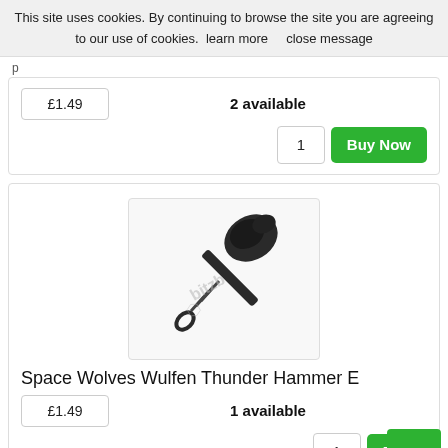This site uses cookies. By continuing to browse the site you are agreeing to our use of cookies. learn more   close message
£1.49
2 available
1
Buy Now
[Figure (photo): A Space Wolves Wulfen Thunder Hammer miniature component (part E), a dark metal sculpted hammer with a large decorative top and wrapped handle, on a white background with a bitzbox watermark.]
Space Wolves Wulfen Thunder Hammer E
£1.49
1 available
1
Buy
▲